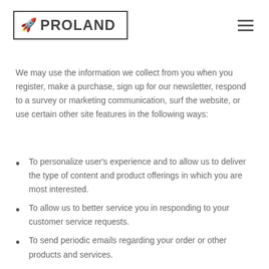PROLAND
We may use the information we collect from you when you register, make a purchase, sign up for our newsletter, respond to a survey or marketing communication, surf the website, or use certain other site features in the following ways:
To personalize user's experience and to allow us to deliver the type of content and product offerings in which you are most interested.
To allow us to better service you in responding to your customer service requests.
To send periodic emails regarding your order or other products and services.